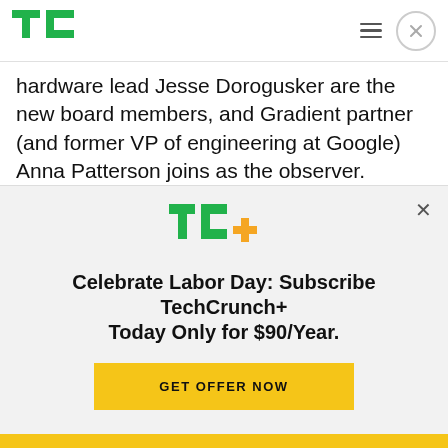TechCrunch
hardware lead Jesse Dorogusker are the new board members, and Gradient partner (and former VP of engineering at Google) Anna Patterson joins as the observer.
Oura will be revamping its website and adding a new web-based portal for Oura Ring users that
[Figure (logo): TC+ logo with green TC letters and orange plus sign]
Celebrate Labor Day: Subscribe TechCrunch+ Today Only for $90/Year.
GET OFFER NOW